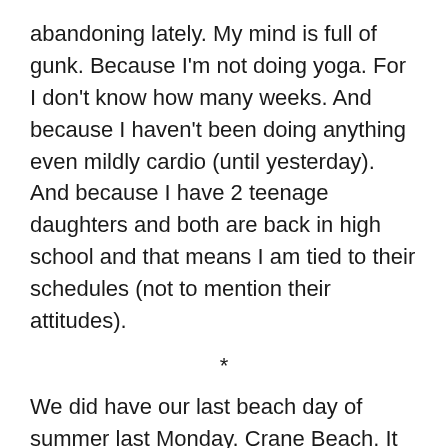abandoning lately. My mind is full of gunk. Because I'm not doing yoga. For I don't know how many weeks. And because I haven't been doing anything even mildly cardio (until yesterday). And because I have 2 teenage daughters and both are back in high school and that means I am tied to their schedules (not to mention their attitudes).
*
We did have our last beach day of summer last Monday. Crane Beach. It was SO BEAUTIFUL. The water was cold (supposedly 65 degrees, but I'm thinking two degrees or more chillier). Gorgeous day, no ER visit on the way home, Gott sei Dank! I swam; I walked and walked and walked up the beach in one direction and down the beach in the other. I swam some more. I did a crawl stroke! I can't tell you how exciting that is because, well I guess I just did. I